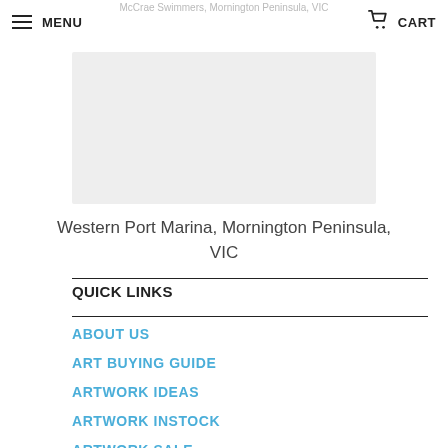McCrae Swimmers, Mornington Peninsula, VIC — MENU | CART
[Figure (photo): Gray placeholder image representing an artwork photo]
Western Port Marina, Mornington Peninsula, VIC
QUICK LINKS
ABOUT US
ART BUYING GUIDE
ARTWORK IDEAS
ARTWORK INSTOCK
ARTWORK SALE
BUY BOOK